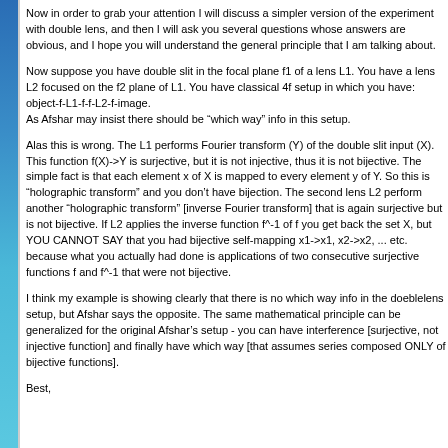Now in order to grab your attention I will discuss a simpler version of the experiment with double lens, and then I will ask you several questions whose answers are obvious, and I hope you will understand the general principle that I am talking about.
Now suppose you have double slit in the focal plane f1 of a lens L1. You have a lens L2 focused on the f2 plane of L1. You have classical 4f setup in which you have:
object-f-L1-f-f-L2-f-image.
As Afshar may insist there should be "which way" info in this setup.
Alas this is wrong. The L1 performs Fourier transform (Y) of the double slit input (X). This function f(X)->Y is surjective, but it is not injective, thus it is not bijective. The simple fact is that each element x of X is mapped to every element y of Y. So this is "holographic transform" and you don't have bijection. The second lens L2 perform another "holographic transform" [inverse Fourier transform] that is again surjective but is not bijective. If L2 applies the inverse function f^-1 of f you get back the set X, but YOU CANNOT SAY that you had bijective self-mapping x1->x1, x2->x2, ... etc. because what you actually had done is applications of two consecutive surjective functions f and f^-1 that were not bijective.
I think my example is showing clearly that there is no which way info in the doeblelens setup, but Afshar says the opposite. The same mathematical principle can be generalized for the original Afshar's setup - you can have interference [surjective, not injective function] and finally have which way [that assumes series composed ONLY of bijective functions].
Best,